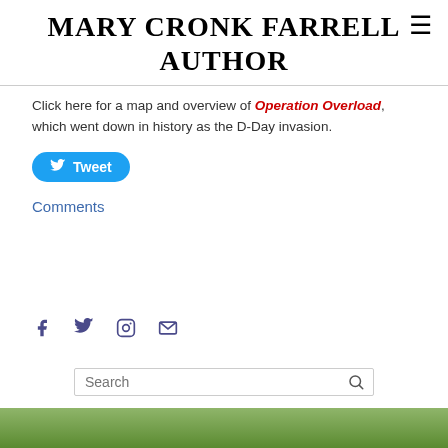MARY CRONK FARRELL AUTHOR
Click here for a map and overview of Operation Overlord, which went down in history as the D-Day invasion.
[Figure (other): Tweet button (Twitter/X share button with bird icon)]
Comments
[Figure (other): Social media icons: Facebook, Twitter, Instagram, Email]
[Figure (other): Search bar with magnifying glass icon]
[Figure (photo): Bottom edge of a photo showing green foliage/landscape]